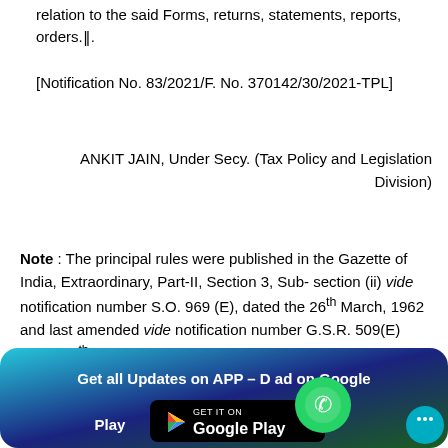relation to the said Forms, returns, statements, reports, orders.‖.
[Notification No. 83/2021/F. No. 370142/30/2021-TPL]
ANKIT JAIN, Under Secy. (Tax Policy and Legislation Division)
Note : The principal rules were published in the Gazette of India, Extraordinary, Part-II, Section 3, Sub- section (ii) vide notification number S.O. 969 (E), dated the 26th March, 1962 and last amended vide notification number G.S.R. 509(E) dated 27th July, 2021.
[Figure (infographic): Green and blue gradient banner at the bottom: 'Get all Updates on APP – Download on Google Play' with a Google Play Store button, a WhatsApp circular icon, and a chat bubble icon.]